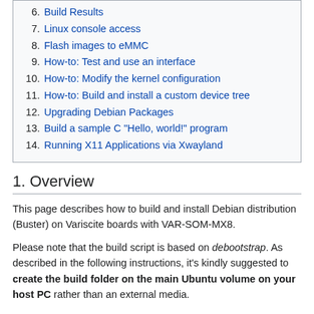6. Build Results
7. Linux console access
8. Flash images to eMMC
9. How-to: Test and use an interface
10. How-to: Modify the kernel configuration
11. How-to: Build and install a custom device tree
12. Upgrading Debian Packages
13. Build a sample C "Hello, world!" program
14. Running X11 Applications via Xwayland
1. Overview
This page describes how to build and install Debian distribution (Buster) on Variscite boards with VAR-SOM-MX8.
Please note that the build script is based on debootstrap. As described in the following instructions, it's kindly suggested to create the build folder on the main Ubuntu volume on your host PC rather than an external media.